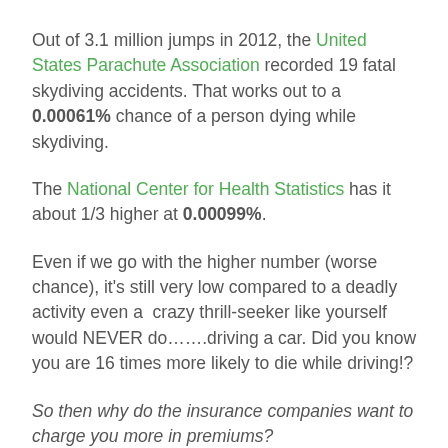Out of 3.1 million jumps in 2012, the United States Parachute Association recorded 19 fatal skydiving accidents. That works out to a 0.00061% chance of a person dying while skydiving.
The National Center for Health Statistics has it about 1/3 higher at 0.00099%.
Even if we go with the higher number (worse chance), it's still very low compared to a deadly activity even a crazy thrill-seeker like yourself would NEVER do.......driving a car. Did you know you are 16 times more likely to die while driving!?
So then why do the insurance companies want to charge you more in premiums?